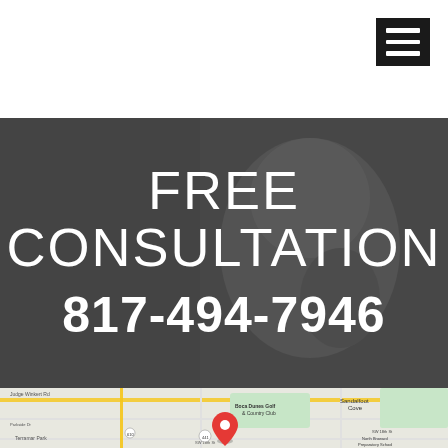[Figure (photo): Website screenshot showing a woman smiling and talking on the phone, with a dark overlay. Large white text reads FREE CONSULTATION and 817-494-7946. There is a hamburger menu icon in the top right corner.]
FREE CONSULTATION
817-494-7946
[Figure (map): Google Maps screenshot showing Boca Dunes Golf & Country Club area, Sandalfoot Cove, Judge Winkert Rd, Terramar Park, North Broward Preparatory School, with a red location pin marker in the center.]